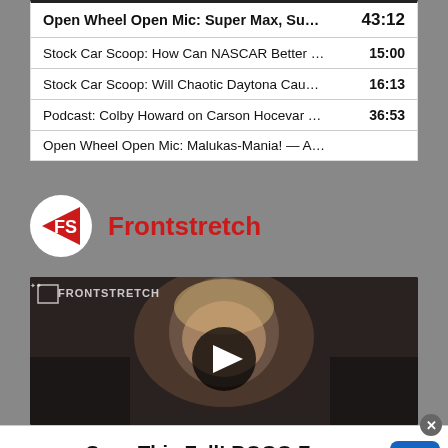Open Wheel Open Mic: Super Max, Su... 43:12
Stock Car Scoop: How Can NASCAR Better ... 15:00
Stock Car Scoop: Will Chaotic Daytona Cau... 16:13
Podcast: Colby Howard on Carson Hocevar ... 36:53
Open Wheel Open Mic: Malukas-Mania! — A...
Frontstretch
[Figure (screenshot): Video thumbnail showing a man's face with FRONTSTRETCH logo overlay and a play button in the center]
Save This Fall! BOGO Free Vitamins and Supplements